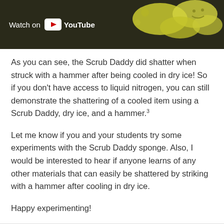[Figure (screenshot): YouTube video thumbnail showing 'Watch on YouTube' button overlay on dark background with smiley-face sponge (Scrub Daddy) image]
As you can see, the Scrub Daddy did shatter when struck with a hammer after being cooled in dry ice! So if you don't have access to liquid nitrogen, you can still demonstrate the shattering of a cooled item using a Scrub Daddy, dry ice, and a hammer.³
Let me know if you and your students try some experiments with the Scrub Daddy sponge. Also, I would be interested to hear if anyone learns of any other materials that can easily be shattered by striking with a hammer after cooling in dry ice.
Happy experimenting!